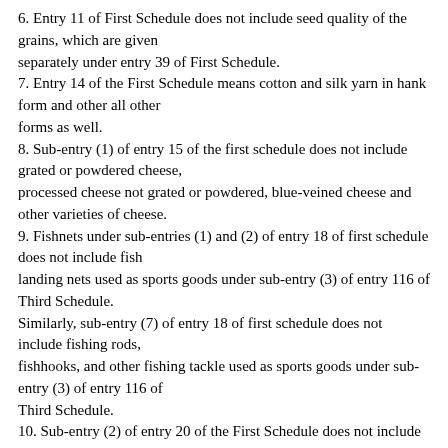6. Entry 11 of First Schedule does not include seed quality of the grains, which are given separately under entry 39 of First Schedule.
7. Entry 14 of the First Schedule means cotton and silk yarn in hank form and other all other forms as well.
8. Sub-entry (1) of entry 15 of the first schedule does not include grated or powdered cheese, processed cheese not grated or powdered, blue-veined cheese and other varieties of cheese.
9. Fishnets under sub-entries (1) and (2) of entry 18 of first schedule does not include fish landing nets used as sports goods under sub-entry (3) of entry 116 of Third Schedule.
Similarly, sub-entry (7) of entry 18 of first schedule does not include fishing rods, fishhooks, and other fishing tackle used as sports goods under sub-entry (3) of entry 116 of Third Schedule.
10. Sub-entry (2) of entry 20 of the First Schedule does not include condensed milk.
11. Entry 21 of First Schedule covers only live trees and goods of